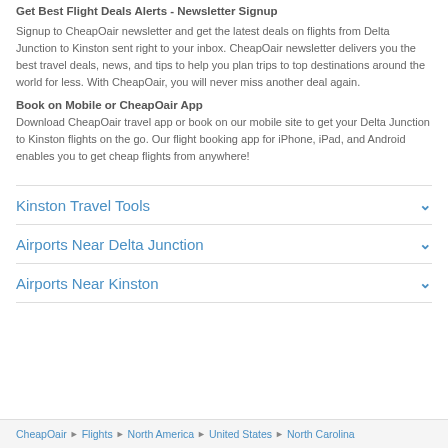Get Best Flight Deals Alerts - Newsletter Signup
Signup to CheapOair newsletter and get the latest deals on flights from Delta Junction to Kinston sent right to your inbox. CheapOair newsletter delivers you the best travel deals, news, and tips to help you plan trips to top destinations around the world for less. With CheapOair, you will never miss another deal again.
Book on Mobile or CheapOair App
Download CheapOair travel app or book on our mobile site to get your Delta Junction to Kinston flights on the go. Our flight booking app for iPhone, iPad, and Android enables you to get cheap flights from anywhere!
Kinston Travel Tools
Airports Near Delta Junction
Airports Near Kinston
CheapOair › Flights › North America › United States › North Carolina